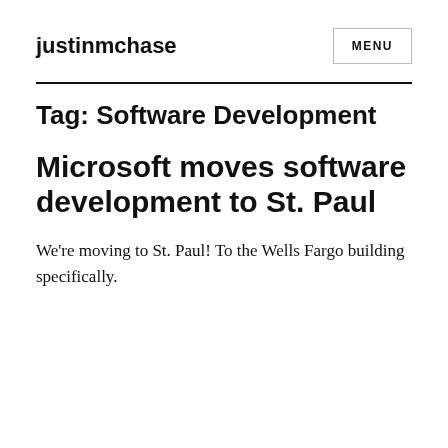justinmchase
Tag: Software Development
Microsoft moves software development to St. Paul
We're moving to St. Paul! To the Wells Fargo building specifically.